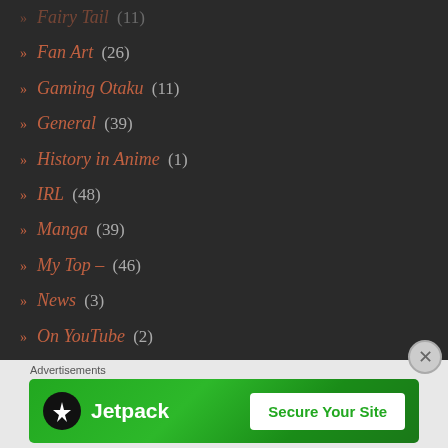» Fairy Tail (11)
» Fan Art (26)
» Gaming Otaku (11)
» General (39)
» History in Anime (1)
» IRL (48)
» Manga (39)
» My Top – (46)
» News (3)
» On YouTube (2)
» Otaku Moves (12)
» Quickies (41)
[Figure (screenshot): Jetpack advertisement banner with 'Secure Your Site' button on green background, with 'Advertisements' label and a close (X) button]